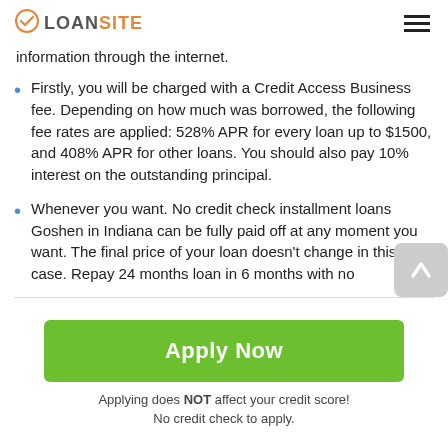LOANSITE
information through the internet.
Firstly, you will be charged with a Credit Access Business fee. Depending on how much was borrowed, the following fee rates are applied: 528% APR for every loan up to $1500, and 408% APR for other loans. You should also pay 10% interest on the outstanding principal.
Whenever you want. No credit check installment loans Goshen in Indiana can be fully paid off at any moment you want. The final price of your loan doesn't change in this case. Repay 24 months loan in 6 months with no
Apply Now
Applying does NOT affect your credit score!
No credit check to apply.